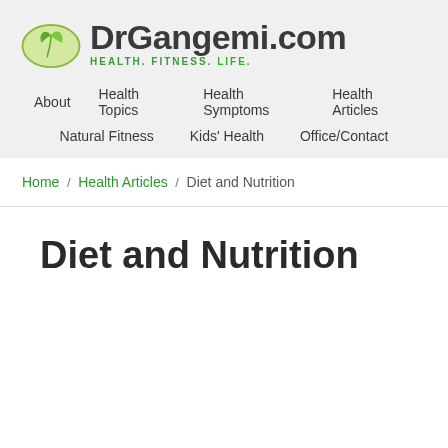[Figure (logo): DrGangemi.com logo with green leaf oval icon and site name, tagline HEALTH. FITNESS. LIFE.]
About | Health Topics | Health Symptoms | Health Articles | Natural Fitness | Kids' Health | Office/Contact
Home / Health Articles / Diet and Nutrition
Diet and Nutrition